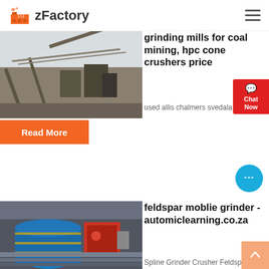zFactory
[Figure (photo): Industrial mining conveyor belt and machinery aerial view]
grinding mills for coal mining, hpc cone crushers price
used allis chalmers svedala
Read More
[Figure (photo): Industrial grinding mill machinery with blue drums]
feldspar moblie grinder - automiclearning.co.za
Spline Grinder Crusher Feldspar...